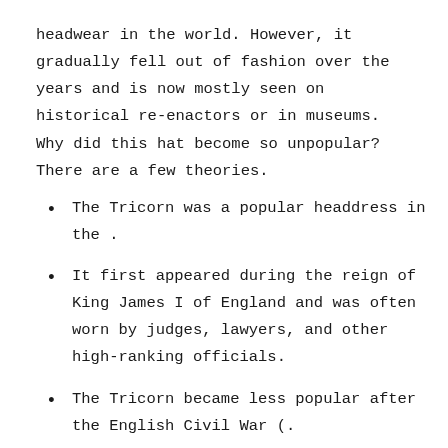headwear in the world. However, it gradually fell out of fashion over the years and is now mostly seen on historical re-enactors or in museums. Why did this hat become so unpopular? There are a few theories.
The Tricorn was a popular headdress in the .
It first appeared during the reign of King James I of England and was often worn by judges, lawyers, and other high-ranking officials.
The Tricorn became less popular after the English Civil War (.
It is believed that it fell out of fashion because it made people look like clowns.